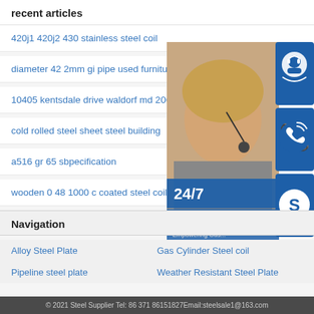recent articles
420j1 420j2 430 stainless steel coil
diameter 42 2mm gi pipe used furniture black st…
10405 kentsdale drive waldorf md 20603 mls
cold rolled steel sheet steel building
a516 gr 65 sbpecification
wooden 0 48 1000 c coated steel coil
[Figure (illustration): Customer service contact widget showing a woman with headset, 24/7 text, and icons for live chat, phone, Skype, and online live support]
Navigation
Alloy Steel Plate
Gas Cylinder Steel coil
Pipeline steel plate
Weather Resistant Steel Plate
© 2021 Steel Supplier Tel: 86 371 86151827Email:steelsale1@163.com